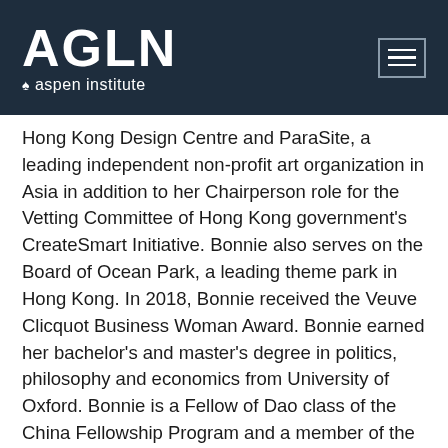AGLN aspen institute
Hong Kong Design Centre and ParaSite, a leading independent non-profit art organization in Asia in addition to her Chairperson role for the Vetting Committee of Hong Kong government's CreateSmart Initiative. Bonnie also serves on the Board of Ocean Park, a leading theme park in Hong Kong. In 2018, Bonnie received the Veuve Clicquot Business Woman Award. Bonnie earned her bachelor's and master's degree in politics, philosophy and economics from University of Oxford. Bonnie is a Fellow of Dao class of the China Fellowship Program and a member of the Aspen Global Leadership Network.